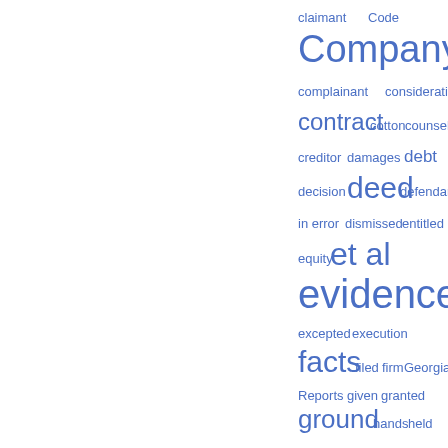[Figure (infographic): Word cloud of legal terms in blue, varying in font size to indicate frequency. Terms include: claimant, Code, Company, complainant, consideration, contract, cotton, counsel, creditor, damages, debt, decision, deed, defendant, in error, dismissed, entitled, equity, et al, evidence, excepted, execution, facts, filed, firm, Georgia, Reports, given, granted, ground, hands, held, hold, homestead, husband, Ibid, illegal, indictment, interest, issue, JACKSON, Judge, judgment, jury]